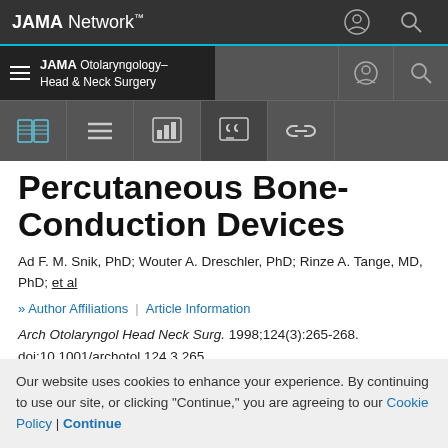JAMA Network
JAMA Otolaryngology–Head & Neck Surgery
Percutaneous Bone-Conduction Devices
Ad F. M. Snik, PhD; Wouter A. Dreschler, PhD; Rinze A. Tange, MD, PhD; et al
Author Affiliations | Article Information
Arch Otolaryngol Head Neck Surg. 1998;124(3):265-268. doi:10.1001/archotol.124.3.265
Our website uses cookies to enhance your experience. By continuing to use our site, or clicking "Continue," you are agreeing to our Cookie Policy | Continue